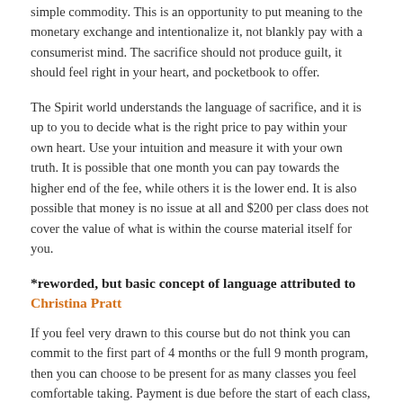simple commodity. This is an opportunity to put meaning to the monetary exchange and intentionalize it, not blankly pay with a consumerist mind. The sacrifice should not produce guilt, it should feel right in your heart, and pocketbook to offer.
The Spirit world understands the language of sacrifice, and it is up to you to decide what is the right price to pay within your own heart. Use your intuition and measure it with your own truth. It is possible that one month you can pay towards the higher end of the fee, while others it is the lower end. It is also possible that money is no issue at all and $200 per class does not cover the value of what is within the course material itself for you.
*reworded, but basic concept of language attributed to Christina Pratt
If you feel very drawn to this course but do not think you can commit to the first part of 4 months or the full 9 month program, then you can choose to be present for as many classes you feel comfortable taking. Payment is due before the start of each class, or you can choose to pay in one lump sum. If finances are a challenge, there is always delving deeper into the material learned and then hopping on to the program next year (yes, we are planning for this to be a repeating yearly